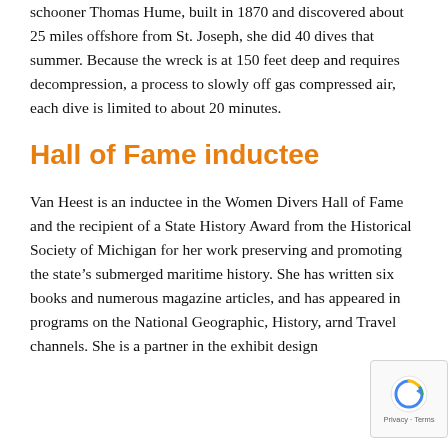schooner Thomas Hume, built in 1870 and discovered about 25 miles offshore from St. Joseph, she did 40 dives that summer. Because the wreck is at 150 feet deep and requires decompression, a process to slowly off gas compressed air, each dive is limited to about 20 minutes.
Hall of Fame inductee
Van Heest is an inductee in the Women Divers Hall of Fame and the recipient of a State History Award from the Historical Society of Michigan for her work preserving and promoting the state's submerged maritime history. She has written six books and numerous magazine articles, and has appeared in programs on the National Geographic, History, and Travel channels. She is a partner in the exhibit design